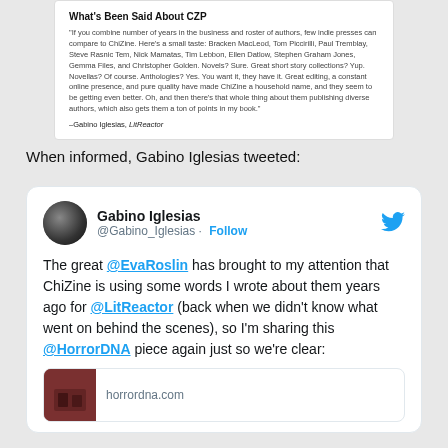What's Been Said About CZP
"If you combine number of years in the business and roster of authors, few indie presses can compare to ChiZine. Here's a small taste: Bracken MacLeod, Tom Piccirilli, Paul Tremblay, Steve Rasnic Tem, Nick Mamatas, Tim Lebbon, Ellen Datlow, Stephen Graham Jones, Gemma Files, and Christopher Golden. Novels? Sure. Great short story collections? Yup. Novellas? Of course. Anthologies? Yes. You want it, they have it. Great editing, a constant online presence, and pure quality have made ChiZine a household name, and they seem to be getting even better. Oh, and then there's that whole thing about them publishing diverse authors, which also gets them a ton of points in my book."
–Gabino Iglesias, LitReactor
When informed, Gabino Iglesias tweeted:
[Figure (screenshot): Twitter/X post by @Gabino_Iglesias reading: 'The great @EvaRoslin has brought to my attention that ChiZine is using some words I wrote about them years ago for @LitReactor (back when we didn't know what went on behind the scenes), so I'm sharing this @HorrorDNA piece again just so we're clear:' with a link preview to horrordna.com]